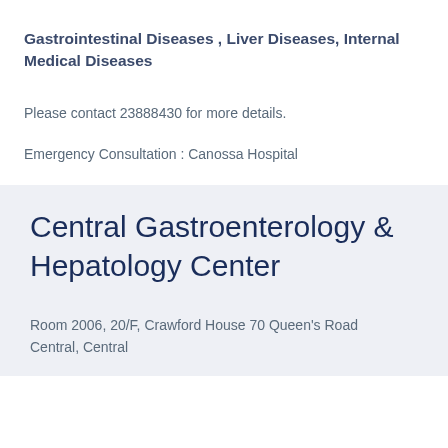Gastrointestinal Diseases , Liver Diseases, Internal Medical Diseases
Please contact 23888430 for more details.
Emergency Consultation : Canossa Hospital
Central Gastroenterology & Hepatology Center
Room 2006, 20/F, Crawford House 70 Queen's Road Central, Central